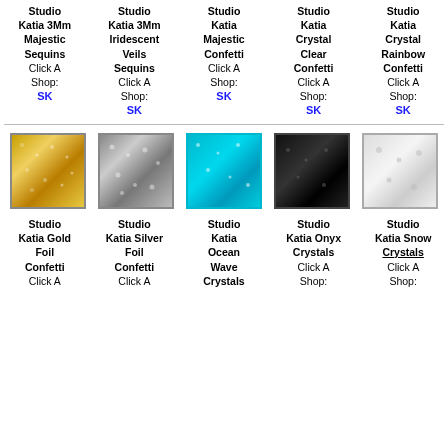Studio Katia 3Mm Majestic Sequins Click A Shop: SK
Studio Katia 3Mm Iridescent Veils Sequins Click A Shop: SK
Studio Katia Majestic Confetti Click A Shop: SK
Studio Katia Crystal Clear Confetti Click A Shop: SK
Studio Katia Crystal Rainbow Confetti Click A Shop: SK
[Figure (photo): Gold glitter foil swatch]
[Figure (photo): Silver glitter foil swatch]
[Figure (photo): Ocean blue glitter swatch]
[Figure (photo): Onyx black glitter swatch]
[Figure (photo): Snow white glitter swatch]
Studio Katia Gold Foil Confetti Click A
Studio Katia Silver Foil Confetti Click A
Studio Katia Ocean Wave Crystals
Studio Katia Onyx Crystals Click A Shop:
Studio Katia Snow Crystals Click A Shop: